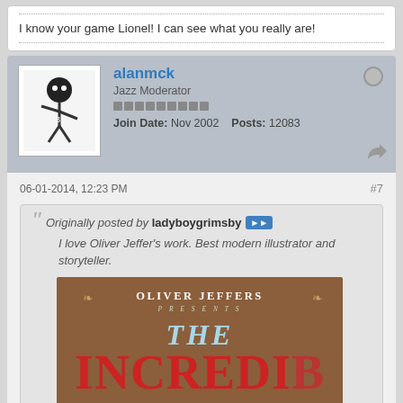I know your game Lionel! I can see what you really are!
alanmck
Jazz Moderator
Join Date: Nov 2002   Posts: 12083
06-01-2014, 12:23 PM
#7
Originally posted by ladyboygrimsby
I love Oliver Jeffer's work. Best modern illustrator and storyteller.
[Figure (photo): Book cover: Oliver Jeffers Presents THE INCREDIBLE... on brown background]